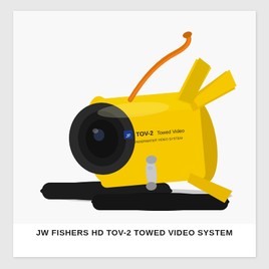[Figure (photo): JW Fishers HD TOV-2 Towed Video System — a yellow cylindrical underwater towed vehicle with black pontoon skids, rear stabilizer fins, front camera lens, and a cable/handle on top. The unit is labeled 'TOV-2 Towed Video' on the side.]
JW FISHERS HD TOV-2 TOWED VIDEO SYSTEM